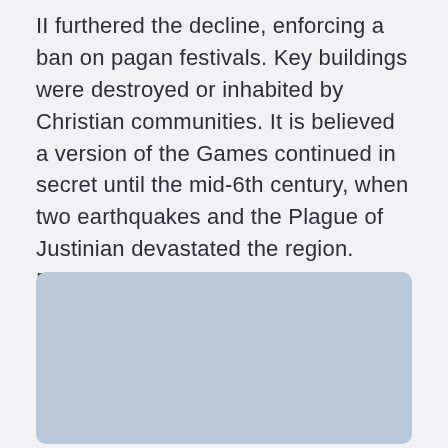II furthered the decline, enforcing a ban on pagan festivals. Key buildings were destroyed or inhabited by Christian communities. It is believed a version of the Games continued in secret until the mid-6th century, when two earthquakes and the Plague of Justinian devastated the region. Repeated floods ensured that the settlement was finally abandoned altogether in the early 7th Century.
[Figure (photo): A placeholder image block with a light blue-grey background and rounded corners, partially visible at the bottom of the page.]